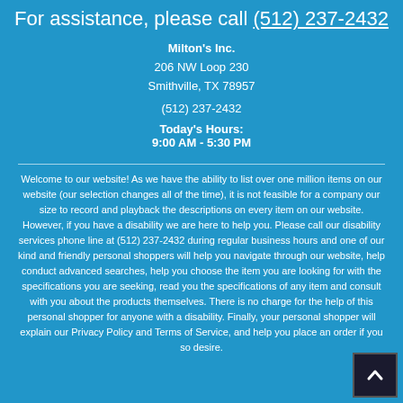For assistance, please call (512) 237-2432
Milton's Inc.
206 NW Loop 230
Smithville, TX 78957

(512) 237-2432

Today's Hours:
9:00 AM - 5:30 PM
Welcome to our website! As we have the ability to list over one million items on our website (our selection changes all of the time), it is not feasible for a company our size to record and playback the descriptions on every item on our website. However, if you have a disability we are here to help you. Please call our disability services phone line at (512) 237-2432 during regular business hours and one of our kind and friendly personal shoppers will help you navigate through our website, help conduct advanced searches, help you choose the item you are looking for with the specifications you are seeking, read you the specifications of any item and consult with you about the products themselves. There is no charge for the help of this personal shopper for anyone with a disability. Finally, your personal shopper will explain our Privacy Policy and Terms of Service, and help you place an order if you so desire.